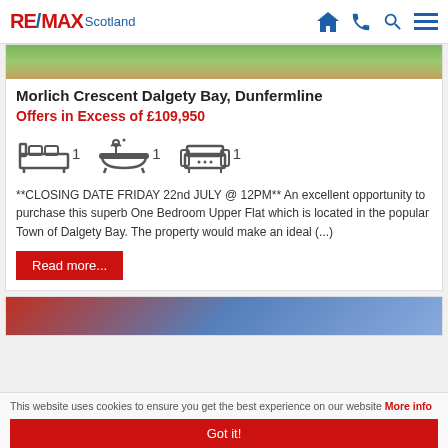RE/MAX Scotland
Morlich Crescent Dalgety Bay, Dunfermline
Offers in Excess of £109,950
[Figure (infographic): Property features icons: bed (1), bath (1), sofa (1)]
**CLOSING DATE FRIDAY 22nd JULY @ 12PM** An excellent opportunity to purchase this superb One Bedroom Upper Flat which is located in the popular Town of Dalgety Bay. The property would make an ideal (...)
Read more...
This website uses cookies to ensure you get the best experience on our website More info
Got it!